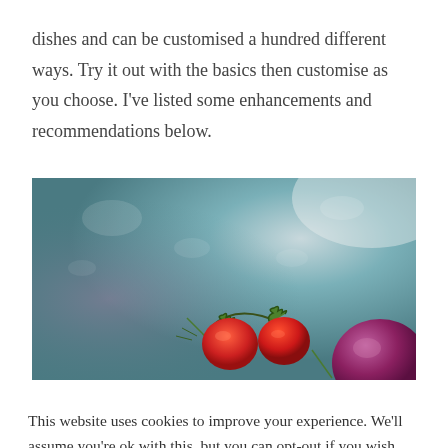dishes and can be customised a hundred different ways. Try it out with the basics then customise as you choose. I've listed some enhancements and recommendations below.
[Figure (photo): Overhead food photography on a dark teal/grey textured surface showing cherry tomatoes on the vine and a red onion, with water droplets and dramatic lighting.]
This website uses cookies to improve your experience. We'll assume you're ok with this, but you can opt-out if you wish.